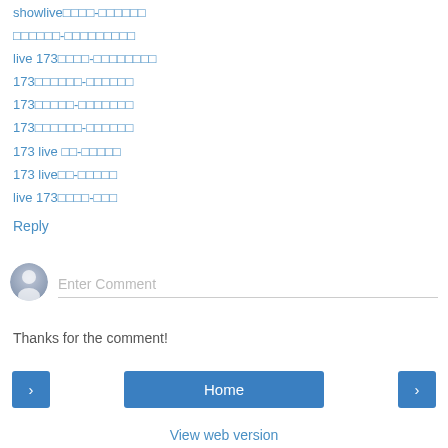showlive□□□□-□□□□□□
□□□□□□-□□□□□□□□□
live 173□□□□-□□□□□□□□
173□□□□□□-□□□□□□
173□□□□□-□□□□□□□
173□□□□□□-□□□□□□
173 live □□-□□□□□
173 live□□-□□□□□
live 173□□□□-□□□
Reply
[Figure (illustration): User avatar circle icon (grey silhouette)]
Enter Comment
Thanks for the comment!
‹   Home   ›
View web version